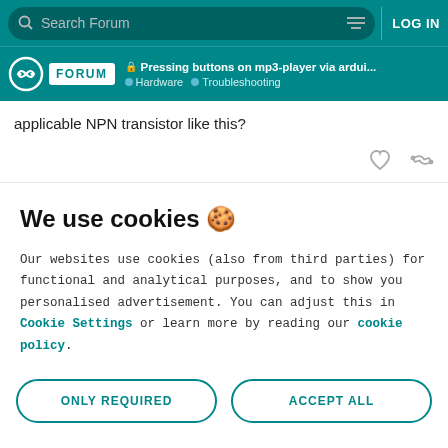Search Forum | LOG IN
Pressing buttons on mp3-player via ardui... | Hardware | Troubleshooting
applicable NPN transistor like this?
We use cookies 🍪
Our websites use cookies (also from third parties) for functional and analytical purposes, and to show you personalised advertisement. You can adjust this in Cookie Settings or learn more by reading our cookie policy.
ONLY REQUIRED | ACCEPT ALL